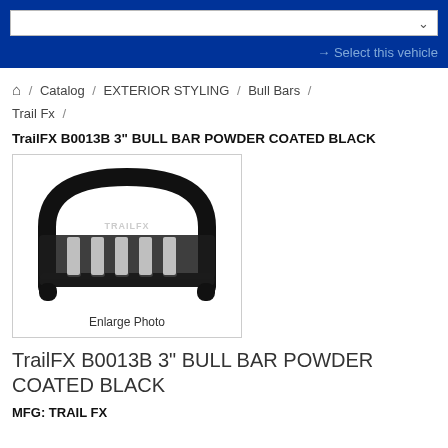Select this vehicle
/ Catalog / EXTERIOR STYLING / Bull Bars / Trail Fx /
TrailFX B0013B 3" BULL BAR POWDER COATED BLACK
[Figure (photo): Black powder coated bull bar (TrailFX brand) with horizontal slats and TrailFX logo, shown on white background. Enlarge Photo link below.]
Enlarge Photo
TrailFX B0013B 3" BULL BAR POWDER COATED BLACK
MFG: TRAIL FX